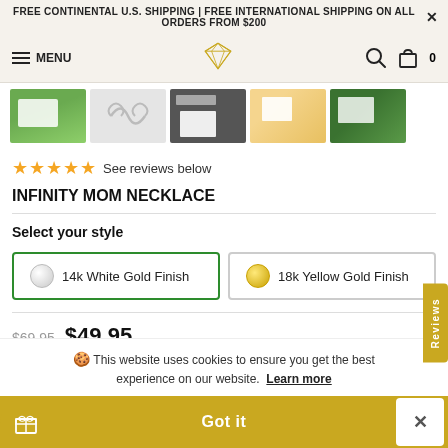FREE CONTINENTAL U.S. SHIPPING | FREE INTERNATIONAL SHIPPING ON ALL ORDERS FROM $200
MENU [hamburger icon] [diamond logo] [search icon] [bag icon] 0
[Figure (photo): Row of product thumbnail images: floral photo, decorative swirl, framed cards, hand holding card, greenery photo]
★★★★★ See reviews below
INFINITY MOM NECKLACE
Select your style
14k White Gold Finish
18k Yellow Gold Finish
$69.95  $49.95
🍪 This website uses cookies to ensure you get the best experience on our website. Learn more
Got it